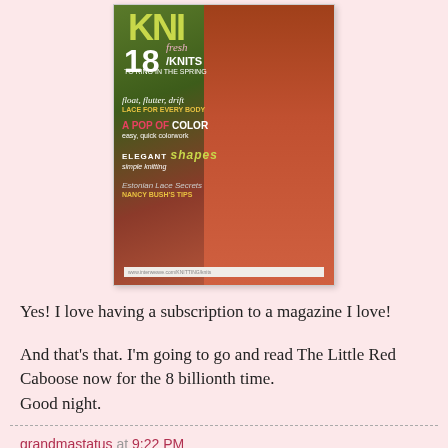[Figure (photo): Magazine cover of KNITS magazine showing a woman wearing a red/coral cable-knit cardigan with text: 18 fresh KNITS TO RING IN THE SPRING, float, flutter, drift LACE FOR EVERY BODY, A POP OF COLOR easy, quick colorwork, ELEGANT shapes simple knitting, Estonian Lace Secrets NANCY BUSH'S TIPS]
Yes! I love having a subscription to a magazine I love!
And that's that. I'm going to go and read The Little Red Caboose now for the 8 billionth time.
Good night.
grandmastatus at 9:22 PM